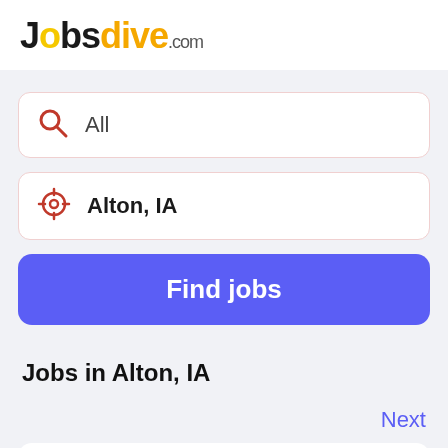[Figure (logo): Jobsdive.com logo with 'Jobs' in black, 'dive' in orange/yellow, and '.com' in gray]
[Figure (screenshot): Search input box with red magnifying glass icon and text 'All']
[Figure (screenshot): Location input box with red location target icon and text 'Alton, IA']
[Figure (screenshot): Blue 'Find jobs' button]
Jobs in Alton, IA
Next